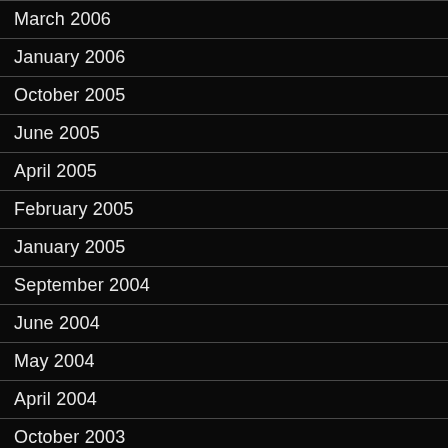March 2006
January 2006
October 2005
June 2005
April 2005
February 2005
January 2005
September 2004
June 2004
May 2004
April 2004
October 2003
September 2003